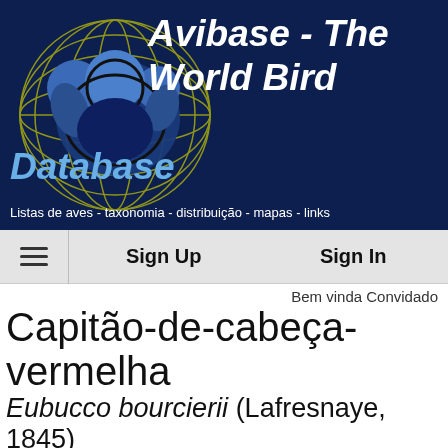[Figure (logo): Avibase globe logo with bird silhouette, dark navy blue background with yellow globe grid lines and blue bird shape]
Avibase - The World Bird Database
Listas de aves - taxonomia - distribuição - mapas - links
Sign Up | Sign In
Bem vinda Convidado
Capitão-de-cabeça-vermelha
Eubucco bourcierii (Lafresnaye, 1845)
resumo
grade de taxon
synonyms
mapa
life history
eBird
Wikipedia
NatureServe
ITIS
Flickr
Audio
Mais links